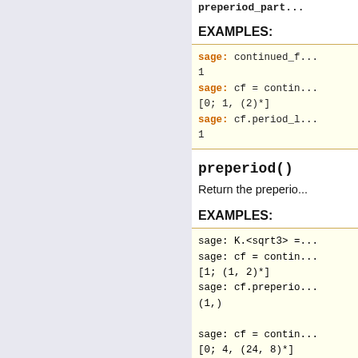preperiod_part...
EXAMPLES:
sage: continued_f...
1
sage: cf = contin...
[0; 1, (2)*]
sage: cf.period_l...
1
preperiod()
Return the preperio...
EXAMPLES:
sage: K.<sqrt3> =...
sage: cf = contin...
[1; (1, 2)*]
sage: cf.preperio...
(1,)

sage: cf = contin...
[0; 4, (24, 8)*]
sage: cf.preperio...
(0, 4)